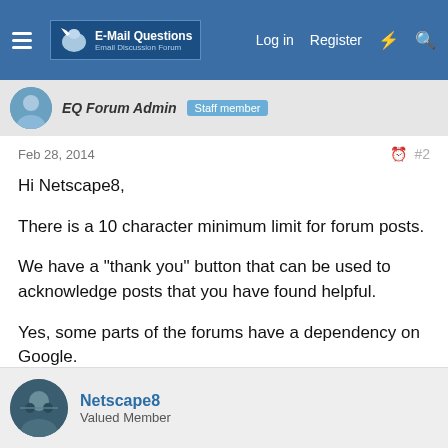E-Mail Questions — Log in  Register
EQ Forum Admin  Staff member
Feb 28, 2014  #2
Hi Netscape8,

There is a 10 character minimum limit for forum posts.

We have a "thank you" button that can be used to acknowledge posts that you have found helpful.

Yes, some parts of the forums have a dependency on Google.

Does that help to answer your question?

-Ray
Netscape8
Valued Member